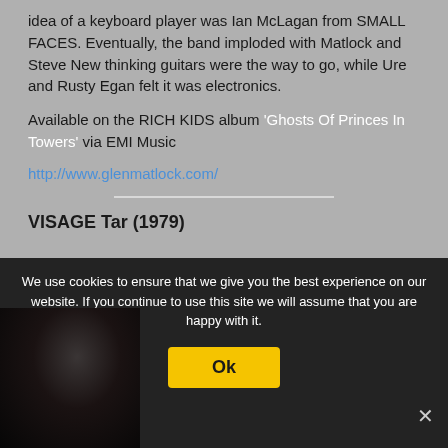idea of a keyboard player was Ian McLagan from SMALL FACES. Eventually, the band imploded with Matlock and Steve New thinking guitars were the way to go, while Ure and Rusty Egan felt it was electronics.
Available on the RICH KIDS album 'Ghosts Of Princes In Towers' via EMI Music
http://www.glenmatlock.com/
VISAGE Tar (1979)
We use cookies to ensure that we give you the best experience on our website. If you continue to use this site we will assume that you are happy with it.
[Figure (photo): Dark photograph of a person's face, mostly in shadow against a black background]